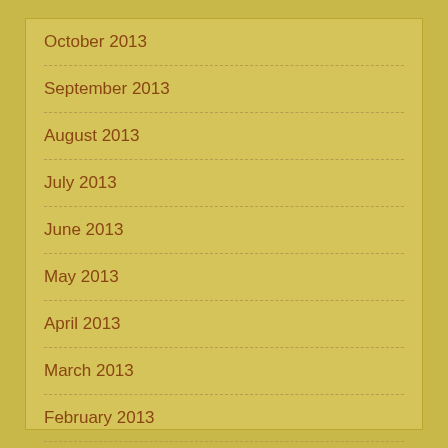October 2013
September 2013
August 2013
July 2013
June 2013
May 2013
April 2013
March 2013
February 2013
January 2013
December 2012
November 2012